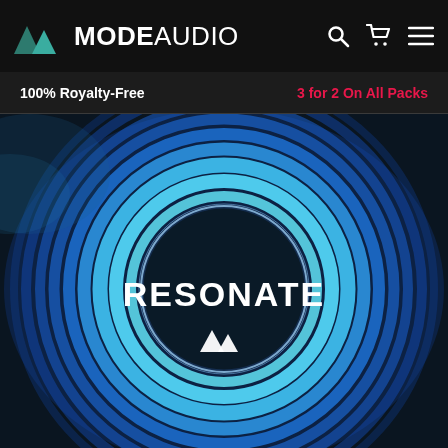MODE AUDIO
100% Royalty-Free
3 for 2 On All Packs
[Figure (illustration): RESONATE product artwork showing concentric blue glowing rings on a dark background with a dark circular center containing the word RESONATE in white bold text and the ModeAudio mountain logo below it]